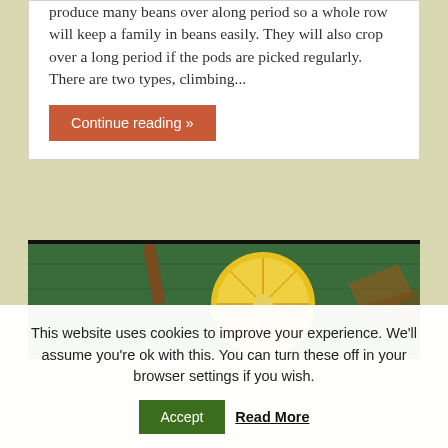produce many beans over along period so a whole row will keep a family in beans easily. They will also crop over a long period if the pods are picked regularly. There are two types, climbing...
Continue reading »
[Figure (photo): Photo of a sliced lemon/citrus fruit on a green wooden surface]
This website uses cookies to improve your experience. We'll assume you're ok with this. You can turn these off in your browser settings if you wish.
Accept  Read More